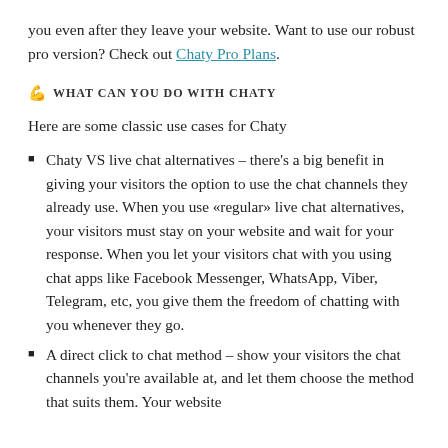you even after they leave your website. Want to use our robust pro version? Check out Chaty Pro Plans.
💪 WHAT CAN YOU DO WITH CHATY
Here are some classic use cases for Chaty
Chaty VS live chat alternatives – there's a big benefit in giving your visitors the option to use the chat channels they already use. When you use «regular» live chat alternatives, your visitors must stay on your website and wait for your response. When you let your visitors chat with you using chat apps like Facebook Messenger, WhatsApp, Viber, Telegram, etc, you give them the freedom of chatting with you whenever they go.
A direct click to chat method – show your visitors the chat channels you're available at, and let them choose the method that suits them. Your website